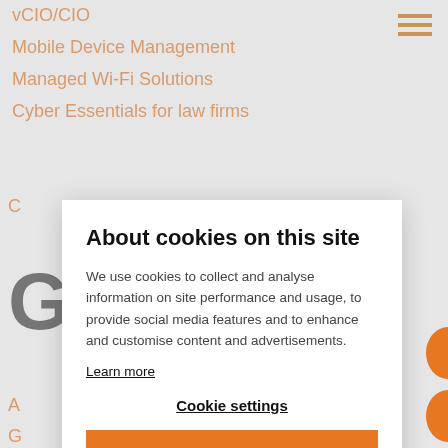vCIO/CIO
Mobile Device Management
Managed Wi-Fi Solutions
Cyber Essentials for law firms
About cookies on this site
We use cookies to collect and analyse information on site performance and usage, to provide social media features and to enhance and customise content and advertisements.
Learn more
Cookie settings
DENY ALL
ALLOW ALL COOKIES